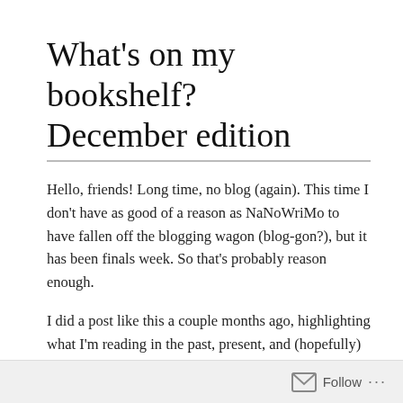What's on my bookshelf? December edition
Hello, friends! Long time, no blog (again). This time I don't have as good of a reason as NaNoWriMo to have fallen off the blogging wagon (blog-gon?), but it has been finals week. So that's probably reason enough.
I did a post like this a couple months ago, highlighting what I'm reading in the past, present, and (hopefully) future, and I'm glad to say I've kept up the habit of reading for pleasure! Read on for my thoughts on what I've read lately and what I'm looking forward to.
Follow